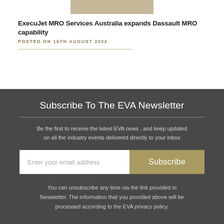[Figure (photo): Partial image of an aircraft or similar subject, cropped at top of page]
ExecuJet MRO Services Australia expands Dassault MRO capability
POSTED ON 16TH AUGUST 2022
Subscribe To The EVA Newsletter
Be the first to receive the latest EVA news , and keep updated on all the industry events delivered directly to your inbox
Enter your email address
Subscribe
You can unsubscribe any time via the link provided in Newsletter. The information that you provided above will be processed according to the EVA privacy policy.